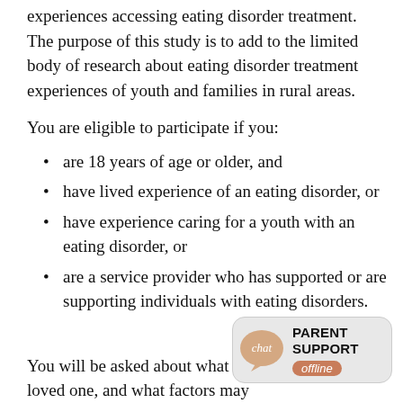experiences accessing eating disorder treatment. The purpose of this study is to add to the limited body of research about eating disorder treatment experiences of youth and families in rural areas.
You are eligible to participate if you:
are 18 years of age or older, and
have lived experience of an eating disorder, or
have experience caring for a youth with an eating disorder, or
are a service provider who has supported or are supporting individuals with eating disorders.
You will be asked about what you yourself or your loved one, and what factors may